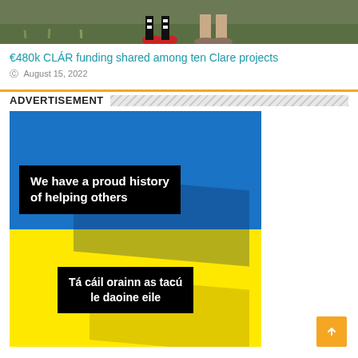[Figure (photo): Partial photo showing feet/legs of people standing on grass]
€480k CLÁR funding shared among ten Clare projects
August 15, 2022
ADVERTISEMENT
[Figure (infographic): Advertisement banner with blue and yellow sections (Ukraine flag colors). Text reads: 'We have a proud history of helping others' and 'Tá cáil orainn as tacú le daoine eile']